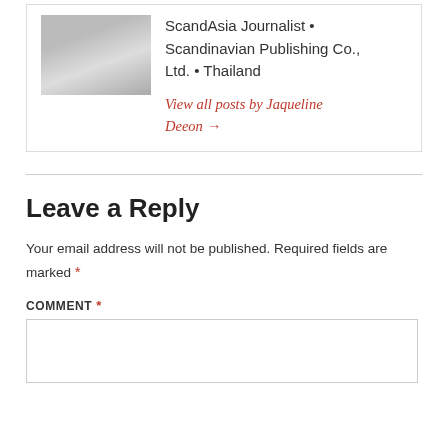ScandAsia Journalist • Scandinavian Publishing Co., Ltd. • Thailand
View all posts by Jaqueline Deeon →
Leave a Reply
Your email address will not be published. Required fields are marked *
COMMENT *